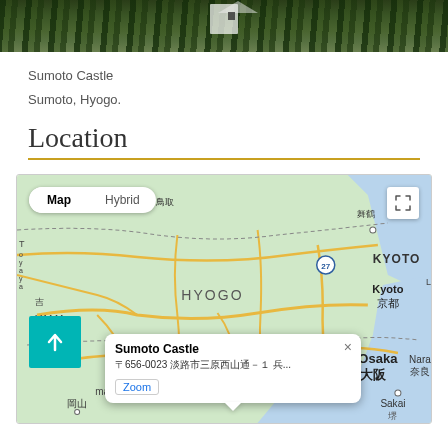[Figure (photo): Partial photo of Sumoto Castle through tree canopy, cropped at top of page]
Sumoto Castle
Sumoto, Hyogo.
Location
[Figure (map): Google Maps screenshot showing Hyogo region of Japan with Map/Hybrid toggle, location pin for Sumoto Castle with popup showing address 〒656-0023 and Zoom link, cities visible include KYOTO, Kyoto 京都, HYOGO, Himeji 姫路, Osaka 大阪, Nara 奈良, Sakai 堺, YAMA, 鳥取, 舞鶴, 岡山]